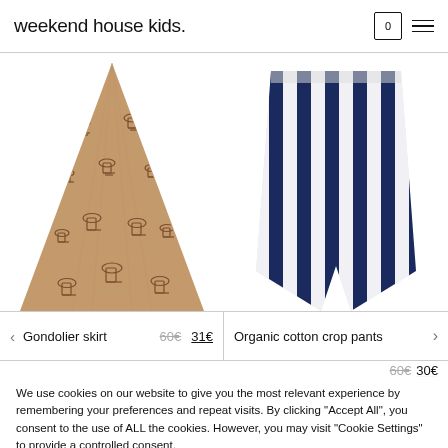weekend house kids.
[Figure (photo): Two children's clothing items: left - a tan/caramel colored skirt with a small repeating hourglass/cup print pattern (Gondolier skirt), right - navy blue and white vertical striped wide-leg crop pants (Organic cotton crop pants)]
Gondolier skirt  60€  31€
Organic cotton crop pants  60€  30€
We use cookies on our website to give you the most relevant experience by remembering your preferences and repeat visits. By clicking "Accept All", you consent to the use of ALL the cookies. However, you may visit "Cookie Settings" to provide a controlled consent.
Cookie Settings   Accept All